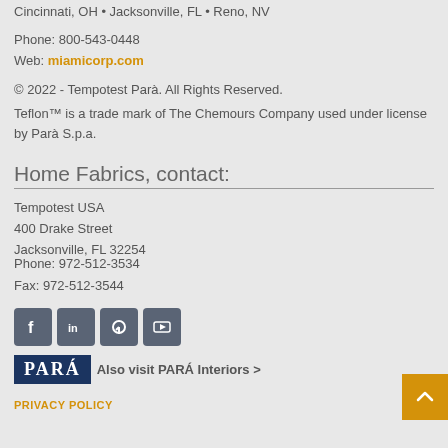Cincinnati, OH • Jacksonville, FL • Reno, NV
Phone: 800-543-0448
Web: miamicorp.com
© 2022 - Tempotest Parà. All Rights Reserved.
Teflon™ is a trade mark of The Chemours Company used under license by Parà S.p.a.
Home Fabrics, contact:
Tempotest USA
400 Drake Street
Jacksonville, FL 32254
Phone: 972-512-3534
Fax: 972-512-3544
[Figure (other): Social media icons: Facebook, LinkedIn, Pinterest, YouTube]
Also visit PARÁ Interiors >
PRIVACY POLICY